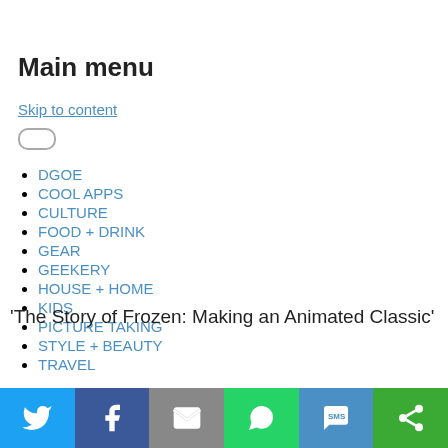Main menu
Skip to content
DGOE
COOL APPS
CULTURE
FOOD + DRINK
GEAR
GEEKERY
HOUSE + HOME
KIDS
PICTURE TAKING
STYLE + BEAUTY
TRAVEL
'The Story of Frozen: Making an Animated Classic'
[Figure (infographic): Social sharing bar with Twitter, Facebook, Email, WhatsApp, SMS, and other share buttons]